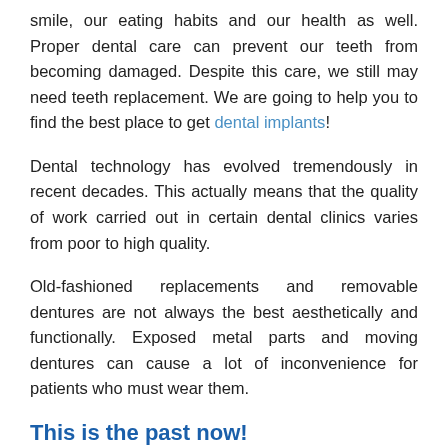smile, our eating habits and our health as well. Proper dental care can prevent our teeth from becoming damaged. Despite this care, we still may need teeth replacement. We are going to help you to find the best place to get dental implants!
Dental technology has evolved tremendously in recent decades. This actually means that the quality of work carried out in certain dental clinics varies from poor to high quality.
Old-fashioned replacements and removable dentures are not always the best aesthetically and functionally. Exposed metal parts and moving dentures can cause a lot of inconvenience for patients who must wear them.
This is the past now!
Nowadays, thanks to modern technology, a wonderful smile and the proper ability to eat at any age is not a dream